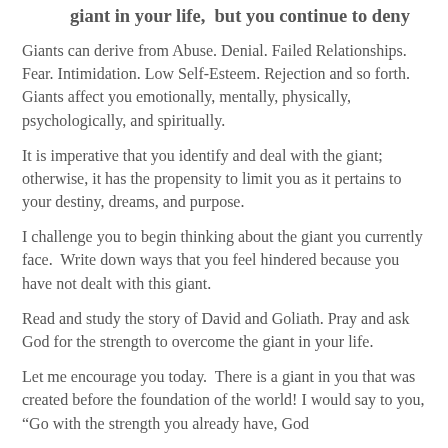giant in your life,  but you continue to deny
Giants can derive from Abuse. Denial. Failed Relationships. Fear. Intimidation. Low Self-Esteem. Rejection and so forth. Giants affect you emotionally, mentally, physically, psychologically, and spiritually.
It is imperative that you identify and deal with the giant; otherwise, it has the propensity to limit you as it pertains to your destiny, dreams, and purpose.
I challenge you to begin thinking about the giant you currently face.  Write down ways that you feel hindered because you have not dealt with this giant.
Read and study the story of David and Goliath. Pray and ask God for the strength to overcome the giant in your life.
Let me encourage you today.  There is a giant in you that was created before the foundation of the world! I would say to you, “Go with the strength you already have, God